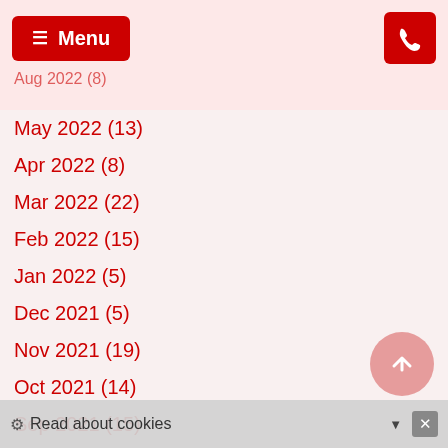Menu | Phone
May 2022 (13)
Apr 2022 (8)
Mar 2022 (22)
Feb 2022 (15)
Jan 2022 (5)
Dec 2021 (5)
Nov 2021 (19)
Oct 2021 (14)
Sep 2021 (15)
Aug 2021 (7)
Jul 2021 (25)
Jun 2021 (29)
May 2021 (31)
Apr 2021 (43)
Mar 2021 (41)
Feb 2021 (24)
Read about cookies